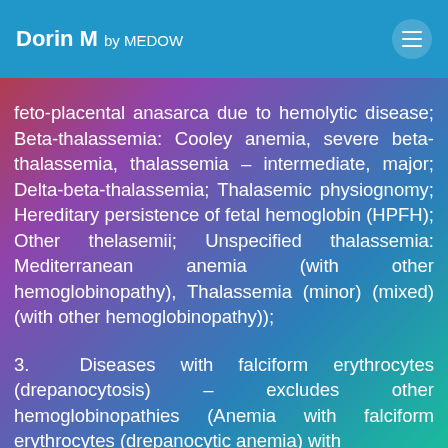Dorin M by MEDOW
feto-placental anasarca due to hemolytic disease; Beta-thalassemia: Cooley anemia, severe beta-thalassemia, thalassemia – intermediate, major; Delta-beta-thalassemia; Thalasemic physiognomy; Hereditary persistence of fetal hemoglobin (HPFH); Other thelasemii; Unspecified thalassemia: Mediterranean anemia (with other hemoglobinopathy), Thalassemia (minor) (mixed) (with other hemoglobinopathy));
3. Diseases with falciform erythrocytes (drepanocytosis) – excludes other hemoglobinopathies (Anemia with falciform erythrocytes (drepanocytic anemia) with